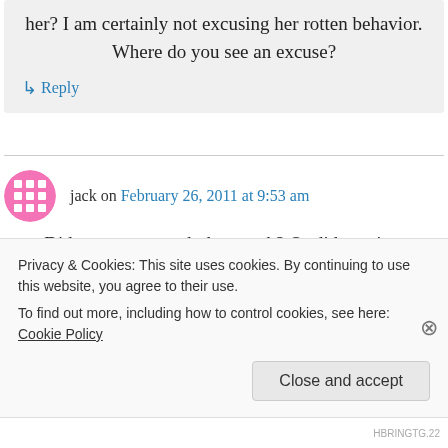her? I am certainly not excusing her rotten behavior. Where do you see an excuse?
↳ Reply
jack on February 26, 2011 at 9:53 am
Did you even watch the match? Or did you just
Privacy & Cookies: This site uses cookies. By continuing to use this website, you agree to their use.
To find out more, including how to control cookies, see here: Cookie Policy
Close and accept